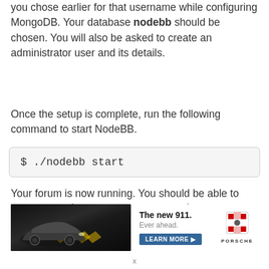you chose earlier for that username while configuring MongoDB. Your database nodebb should be chosen. You will also be asked to create an administrator user and its details.
Once the setup is complete, run the following command to start NodeBB.
Your forum is now running. You should be able to access it via http://<yourserverip>:4567.
[Figure (photo): Advertisement banner for Porsche 'The new 911. Ever ahead.' with an image of a Porsche 911 car, a 'LEARN MORE' button, and the Porsche crest logo.]